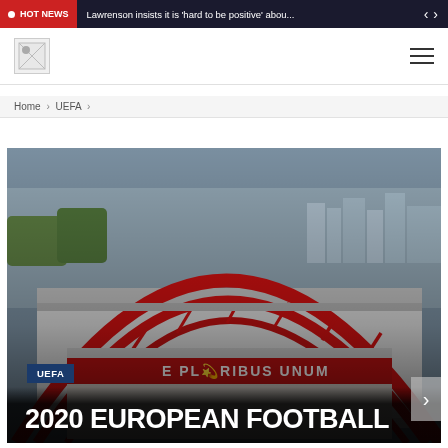HOT NEWS | Lawrenson insists it is 'hard to be positive' abou...
[Figure (logo): Website logo placeholder image]
Home > UEFA >
[Figure (photo): Aerial view of a football stadium with distinctive red arch roof structure (Estádio da Luz / Benfica stadium), city visible in background]
UEFA
2020 EUROPEAN FOOTBALL